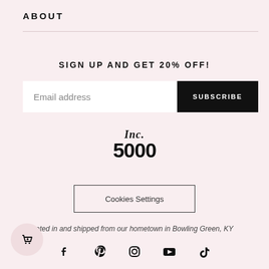ABOUT
SIGN UP AND GET 20% OFF!
Email address
SUBSCRIBE
[Figure (logo): Inc. 5000 logo in bold serif/sans font, black text on pink background]
Cookies Settings
ated in and shipped from our hometown in Bowling Green, KY
[Figure (infographic): Social media icons: Facebook, Pinterest, Instagram, YouTube, TikTok]
[Figure (illustration): Shopping bag with heart icon in pink circle, bottom left]